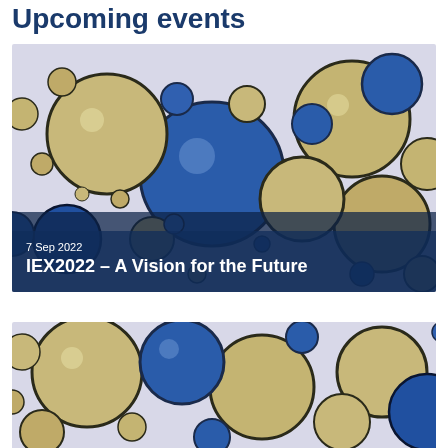Upcoming events
[Figure (photo): Close-up photo of blue and gold/beige spherical bubbles or balls of various sizes on a light lavender background, with a dark navy semi-transparent overlay at the bottom showing event details: date 7 Sep 2022 and title IEX2022 – A Vision for the Future]
7 Sep 2022
IEX2022 – A Vision for the Future
[Figure (photo): Close-up photo of blue and gold/beige spherical bubbles or balls of various sizes on a light lavender background, partially cropped at bottom of page]